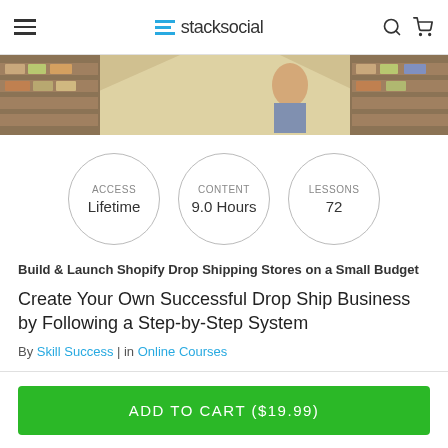stacksocial
[Figure (photo): Warehouse aisle with shelves of stacked boxes and goods]
ACCESS
Lifetime
CONTENT
9.0 Hours
LESSONS
72
Build & Launch Shopify Drop Shipping Stores on a Small Budget
Create Your Own Successful Drop Ship Business by Following a Step-by-Step System
By Skill Success | in Online Courses
ADD TO CART ($19.99)